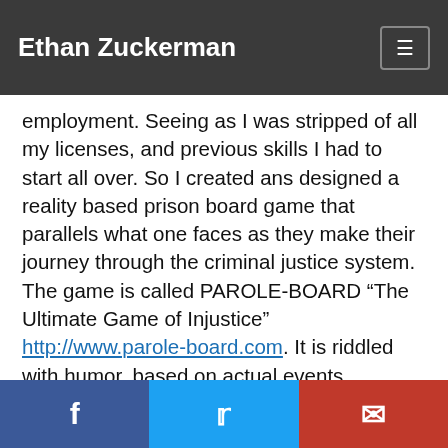Ethan Zuckerman
employment. Seeing as I was stripped of all my licenses, and previous skills I had to start all over. So I created ans designed a reality based prison board game that parallels what one faces as they make their journey through the criminal justice system. The game is called PAROLE-BOARD “The Ultimate Game of Injustice” http://www.parole-board.com. It is riddled with humor, based on actual events, regulations, laws and sanctions. It is an educational game that shows one just hard how it is to get out of the system once you are in. I initially created this game to use the proceed to set up re-entry programs that actually work but due to stigmatization this game will help me rebuild my life along with others. Most of my
f  🐦  ✉